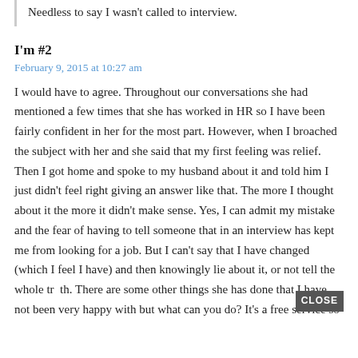Needless to say I wasn't called to interview.
I'm #2
February 9, 2015 at 10:27 am
I would have to agree. Throughout our conversations she had mentioned a few times that she has worked in HR so I have been fairly confident in her for the most part. However, when I broached the subject with her and she said that my first feeling was relief. Then I got home and spoke to my husband about it and told him I just didn't feel right giving an answer like that. The more I thought about it the more it didn't make sense. Yes, I can admit my mistake and the fear of having to tell someone that in an interview has kept me from looking for a job. But I can't say that I have changed (which I feel I have) and then knowingly lie about it, or not tell the whole truth. There are some other things she has done that I have not been very happy with but what can you do? It's a free service so